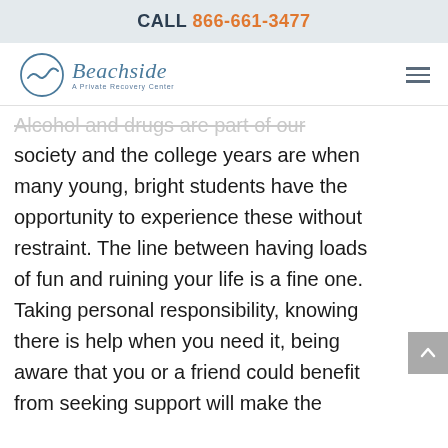CALL 866-661-3477
[Figure (logo): Beachside A Private Recovery Center logo with circular wave icon]
Alcohol and drugs are part of our society and the college years are when many young, bright students have the opportunity to experience these without restraint. The line between having loads of fun and ruining your life is a fine one. Taking personal responsibility, knowing there is help when you need it, being aware that you or a friend could benefit from seeking support will make the